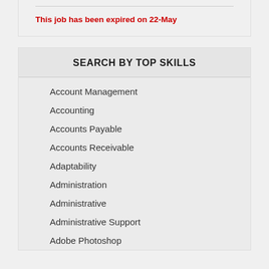This job has been expired on 22-May
SEARCH BY TOP SKILLS
Account Management
Accounting
Accounts Payable
Accounts Receivable
Adaptability
Administration
Administrative
Administrative Support
Adobe Photoshop